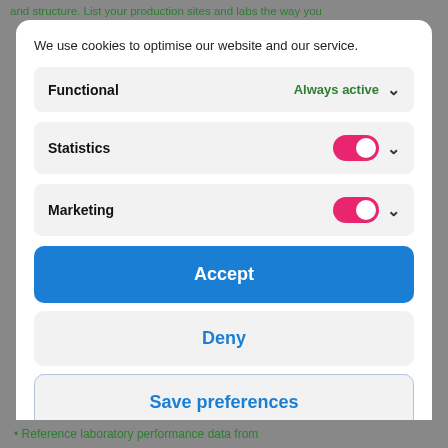and structure. List your production sites and labs the way you
We use cookies to optimise our website and our service.
Functional
Always active
Statistics
Marketing
Accept
Deny
Save preferences
Cookie Policy   Privacy Policy
• Reference laboratory performance data from